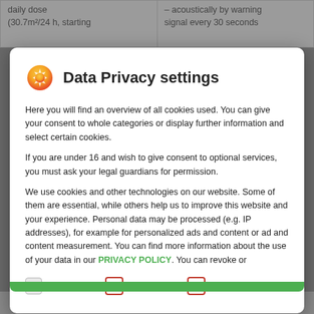| daily dose
(30.7m²/24 h, starting | – acoustically by warning
signal every 30 seconds |
| --- | --- |
Data Privacy settings
Here you will find an overview of all cookies used. You can give your consent to whole categories or display further information and select certain cookies.
If you are under 16 and wish to give consent to optional services, you must ask your legal guardians for permission.
We use cookies and other technologies on our website. Some of them are essential, while others help us to improve this website and your experience. Personal data may be processed (e.g. IP addresses), for example for personalized ads and content or ad and content measurement. You can find more information about the use of your data in our PRIVACY POLICY. You can revoke or
Essenziell
Statistiken
Externe Medien